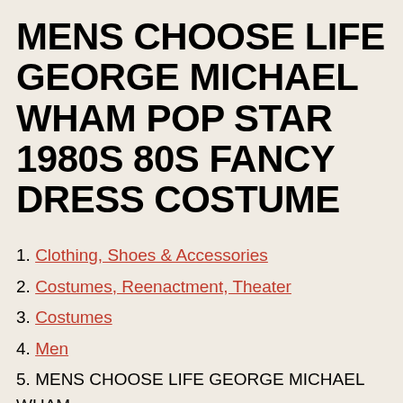MENS CHOOSE LIFE GEORGE MICHAEL WHAM POP STAR 1980S 80S FANCY DRESS COSTUME
1. Clothing, Shoes & Accessories
2. Costumes, Reenactment, Theater
3. Costumes
4. Men
5. MENS CHOOSE LIFE GEORGE MICHAEL WHAM